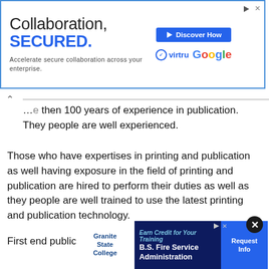[Figure (screenshot): Top advertisement banner with blue border: 'Collaboration, SECURED.' with Virtru and Google branding and a 'Discover How' button]
...more then 100 years of experience in publication. They people are well experienced.
Those who have expertises in printing and publication as well having exposure in the field of printing and publication are hired to perform their duties as well as they people are well trained to use the latest printing and publication technology.
First end publication is done in “Bharat Mitra” the indian most famous and popular newspaper. This is one of the oldest newspaper in the history of India. Officilly its publication house is also in India. This newspaper...are printed...and circulated on the daily basis.
[Figure (screenshot): Bottom advertisement banner for Granite State College: 'Earn Credit for Your Training - B.S. Fire Service Administration' with Request Info button]